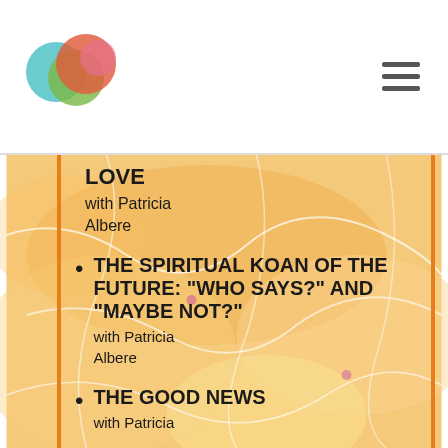[Figure (logo): Three overlapping circles in teal, green, and red/orange forming a logo]
LOVE
with Patricia Albere
THE SPIRITUAL KOAN OF THE FUTURE: "WHO SAYS?" AND "MAYBE NOT?"
with Patricia Albere
THE GOOD NEWS
with Patricia